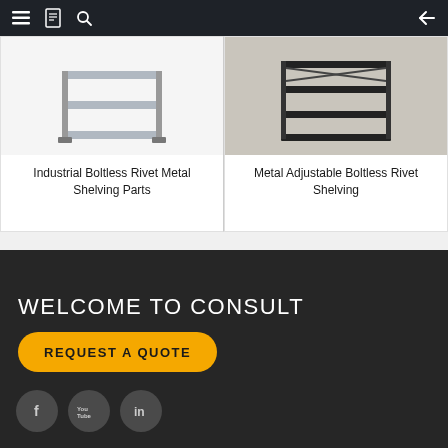Navigation bar with menu, catalog, search icons and back arrow
[Figure (photo): Product image of Industrial Boltless Rivet Metal Shelving Parts on white background]
Industrial Boltless Rivet Metal Shelving Parts
[Figure (photo): Product image of Metal Adjustable Boltless Rivet Shelving on grey background]
Metal Adjustable Boltless Rivet Shelving
WELCOME TO CONSULT
REQUEST A QUOTE
[Figure (infographic): Social media icons: Facebook, YouTube, LinkedIn]